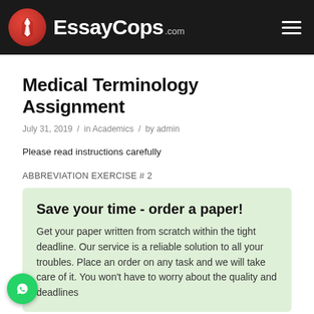EssayCops.com
Medical Terminology Assignment
July 31, 2019 / in Academics / by admin
Please read instructions carefully
ABBREVIATION EXERCISE # 2
Save your time - order a paper!
Get your paper written from scratch within the tight deadline. Our service is a reliable solution to all your troubles. Place an order on any task and we will take care of it. You won't have to worry about the quality and deadlines